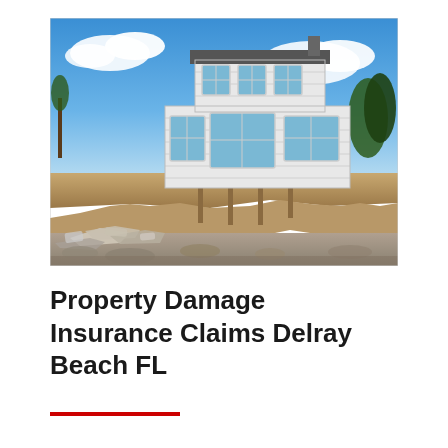[Figure (photo): A coastal house perched precariously on an eroded sandy cliff above a beach, showing significant foundation erosion and structural damage. The two-story white house with large windows is supported by exposed wooden posts. Debris and broken concrete litter the beach below. Blue sky with white clouds in the background.]
Property Damage Insurance Claims Delray Beach FL